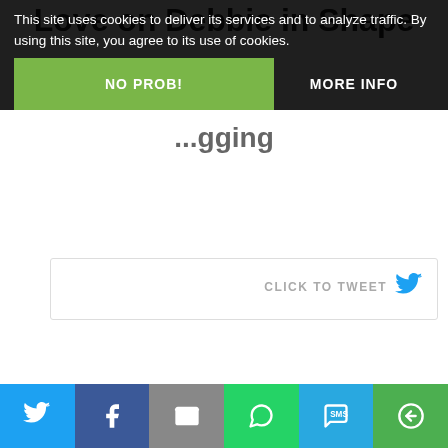This site uses cookies to deliver its services and to analyze traffic. By using this site, you agree to its use of cookies.
NO PROB!
MORE INFO
CLICK TO TWEET
Lifestyle Building Blocks
I am turning 40 soon, and the truth is, I never felt so excited about life before. Kathleen takes it to another level with her great blog Lifestyle Building Blocks.